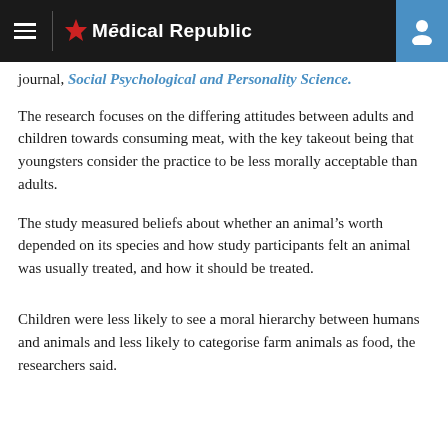The Medical Republic
journal, Social Psychological and Personality Science.
The research focuses on the differing attitudes between adults and children towards consuming meat, with the key takeout being that youngsters consider the practice to be less morally acceptable than adults.
The study measured beliefs about whether an animal’s worth depended on its species and how study participants felt an animal was usually treated, and how it should be treated.
Children were less likely to see a moral hierarchy between humans and animals and less likely to categorise farm animals as food, the researchers said.